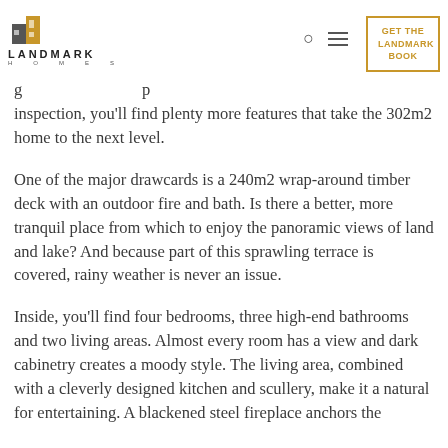LANDMARK HOMES — GET THE LANDMARK BOOK
inspection, you'll find plenty more features that take the 302m2 home to the next level.
One of the major drawcards is a 240m2 wrap-around timber deck with an outdoor fire and bath. Is there a better, more tranquil place from which to enjoy the panoramic views of land and lake? And because part of this sprawling terrace is covered, rainy weather is never an issue.
Inside, you'll find four bedrooms, three high-end bathrooms and two living areas. Almost every room has a view and dark cabinetry creates a moody style. The living area, combined with a cleverly designed kitchen and scullery, make it a natural for entertaining. A blackened steel fireplace anchors the